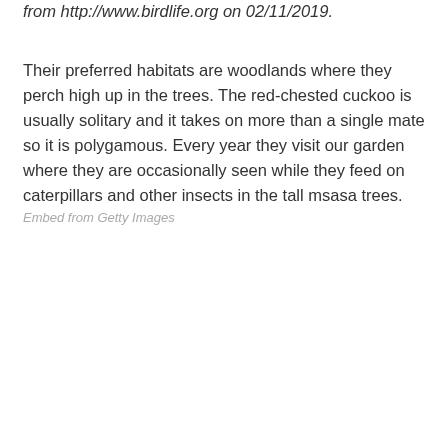from http://www.birdlife.org on 02/11/2019.
Their preferred habitats are woodlands where they perch high up in the trees. The red-chested cuckoo is usually solitary and it takes on more than a single mate so it is polygamous. Every year they visit our garden where they are occasionally seen while they feed on caterpillars and other insects in the tall msasa trees.
Embed from Getty Images